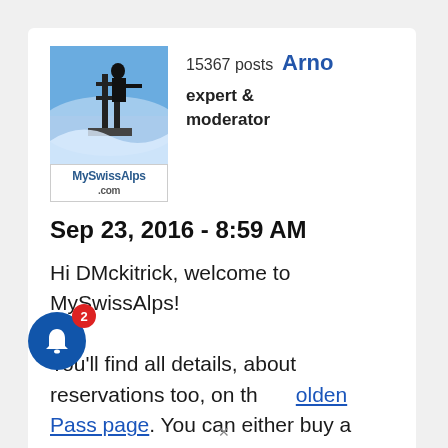[Figure (photo): User avatar photo of Arno on a mountain viewpoint, with MySwissAlps.com logo below]
15367 posts  Arno
expert &
moderator
Sep 23, 2016 - 8:59 AM
Hi DMckitrick, welcome to MySwissAlps!

You'll find all details, about reservations too, on the Golden Pass page. You can either buy a ticket for the entire ride, or buy a rail pass. This